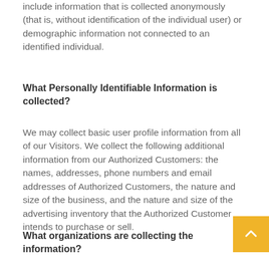include information that is collected anonymously (that is, without identification of the individual user) or demographic information not connected to an identified individual.
What Personally Identifiable Information is collected?
We may collect basic user profile information from all of our Visitors. We collect the following additional information from our Authorized Customers: the names, addresses, phone numbers and email addresses of Authorized Customers, the nature and size of the business, and the nature and size of the advertising inventory that the Authorized Customer intends to purchase or sell.
What organizations are collecting the information?